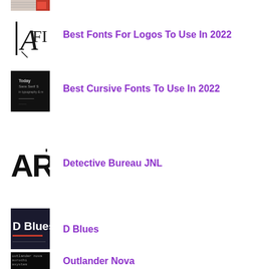[Figure (thumbnail): Partial thumbnail at top, appears to be a font/text sample with red and orange colors]
[Figure (illustration): Font ligature illustration showing A and FI characters in serif style]
Best Fonts For Logos To Use In 2022
[Figure (screenshot): Dark thumbnail showing text: Today Sans Serif S, in typography & m]
Best Cursive Fonts To Use In 2022
[Figure (illustration): White background showing large bold letters ARD in condensed font]
Detective Bureau JNL
[Figure (screenshot): Dark navy background showing D Blues text in white bold font]
D Blues
[Figure (screenshot): Dark background showing text: outlander nova, aurochi, asystem, hanised, trian ae]
Outlander Nova